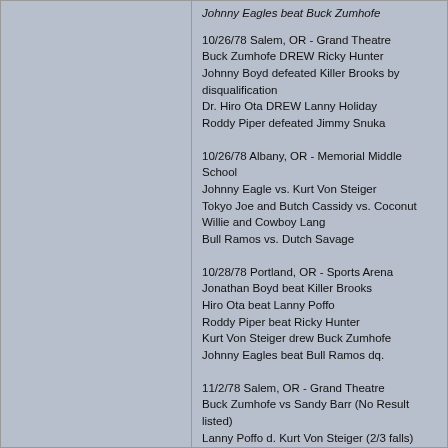Johnny Eagles beat Buck Zumhofe (truncated at top)
10/26/78 Salem, OR - Grand Theatre
Buck Zumhofe DREW Ricky Hunter
Johnny Boyd defeated Killer Brooks by disqualification
Dr. Hiro Ota DREW Lanny Holiday
Roddy Piper defeated Jimmy Snuka
10/26/78 Albany, OR - Memorial Middle School
Johnny Eagle vs. Kurt Von Steiger
Tokyo Joe and Butch Cassidy vs. Coconut Willie and Cowboy Lang
Bull Ramos vs. Dutch Savage
10/28/78 Portland, OR - Sports Arena
Jonathan Boyd beat Killer Brooks
Hiro Ota beat Lanny Poffo
Roddy Piper beat Ricky Hunter
Kurt Von Steiger drew Buck Zumhofe
Johnny Eagles beat Bull Ramos dq.
11/2/78 Salem, OR - Grand Theatre
Buck Zumhofe vs Sandy Barr (No Result listed)
Lanny Poffo d. Kurt Von Steiger (2/3 falls)
Roddy Piper d. Ricky Hunter
Tim Brooks d. Jonathan Boyd
11/3/78 Stayton, OR - Stayton Grade School
Dutch Savage vs Bull Ramos
Johnny Eagles vs Dr. Hiro Ota
Coconut Willie and Cowboy Lang vs Tokyo Joe and Butch Cassidy